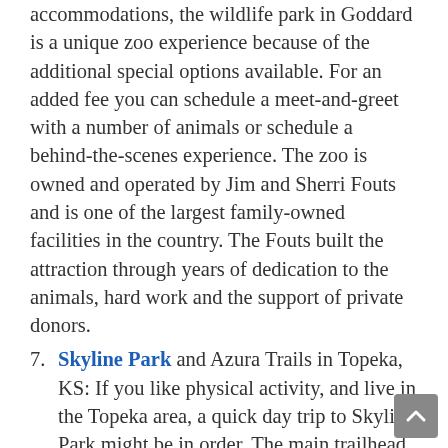accommodations, the wildlife park in Goddard is a unique zoo experience because of the additional special options available. For an added fee you can schedule a meet-and-greet with a number of animals or schedule a behind-the-scenes experience. The zoo is owned and operated by Jim and Sherri Fouts and is one of the largest family-owned facilities in the country. The Fouts built the attraction through years of dedication to the animals, hard work and the support of private donors.
7. Skyline Park and Azura Trails in Topeka, KS: If you like physical activity, and live in the Topeka area, a quick day trip to Skyline Park might be in order. The main trailhead is on Skyline Parkway on the East side of the park, but once there the trails consist of four connected loops of approximately 4.3 miles. The highest point of the park is Burnett's Mound and is also the highest elevation in Topeka. From the north summit the whole city of Topeka can be seen.
8. Harold Warp Pioneer Village in Minden, NE: For a truly unique experience take a trip to Harold Warp's Pioneer Village. What's that? In 1953, Warp opened a one-of-a-kind attraction. A self-made millionaire, he